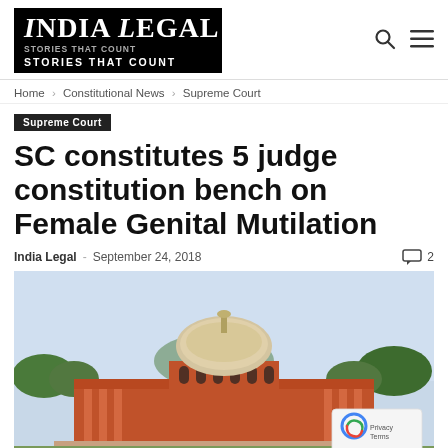India Legal – Stories That Count
Home › Constitutional News › Supreme Court
Supreme Court
SC constitutes 5 judge constitution bench on Female Genital Mutilation
India Legal - September 24, 2018  2
[Figure (photo): Photograph of the Supreme Court of India building showing the iconic dome and red sandstone architecture with trees in background]